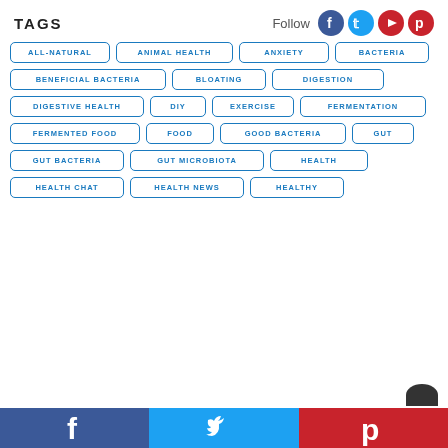TAGS
ALL-NATURAL
ANIMAL HEALTH
ANXIETY
BACTERIA
BENEFICIAL BACTERIA
BLOATING
DIGESTION
DIGESTIVE HEALTH
DIY
EXERCISE
FERMENTATION
FERMENTED FOOD
FOOD
GOOD BACTERIA
GUT
GUT BACTERIA
GUT MICROBIOTA
HEALTH
HEALTH CHAT
HEALTH NEWS
HEALTHY
Follow on Facebook, Twitter, Pinterest